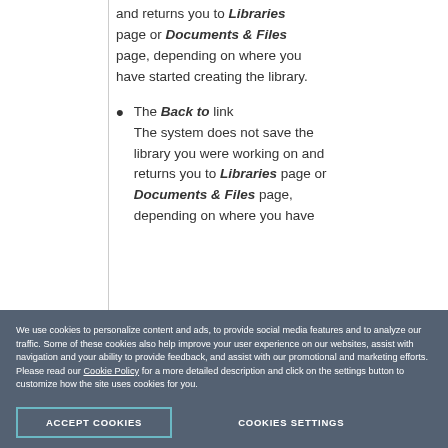and returns you to Libraries page or Documents & Files page, depending on where you have started creating the library.
The Back to link
The system does not save the library you were working on and returns you to Libraries page or Documents & Files page, depending on where you have
We use cookies to personalize content and ads, to provide social media features and to analyze our traffic. Some of these cookies also help improve your user experience on our websites, assist with navigation and your ability to provide feedback, and assist with our promotional and marketing efforts. Please read our Cookie Policy for a more detailed description and click on the settings button to customize how the site uses cookies for you.